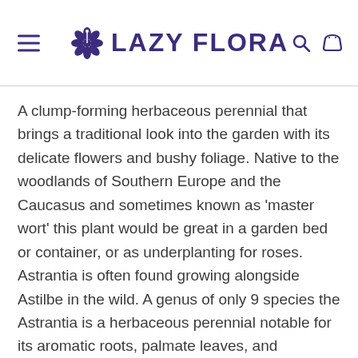LAZY FLORA
A clump-forming herbaceous perennial that brings a traditional look into the garden with its delicate flowers and bushy foliage. Native to the woodlands of Southern Europe and the Caucasus and sometimes known as 'master wort' this plant would be great in a garden bed or container, or as underplanting for roses. Astrantia is often found growing alongside Astilbe in the wild. A genus of only 9 species the Astrantia is a herbaceous perennial notable for its aromatic roots, palmate leaves, and decorative flowers. A member of the Apiaceae family, these plants are an easy to grow plant that adds a traditional cottage garden look to your space.